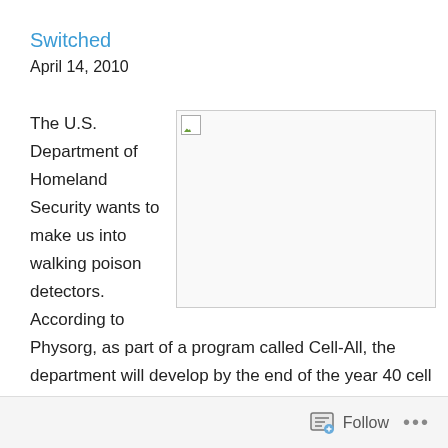Switched
April 14, 2010
The U.S. Department of Homeland Security wants to make us into walking poison detectors. According to Physorg, as part of a program called Cell-All, the department will develop by the end of the year 40 cell phone prototypes that can detect poisonous gas in the air. Officials say cell phones available today can be modified to do this by simply inserting a chip that costs less than $1. When the chip detects a dangerous substance in the
[Figure (photo): Broken/missing image placeholder with small icon in top-left corner]
Follow ...